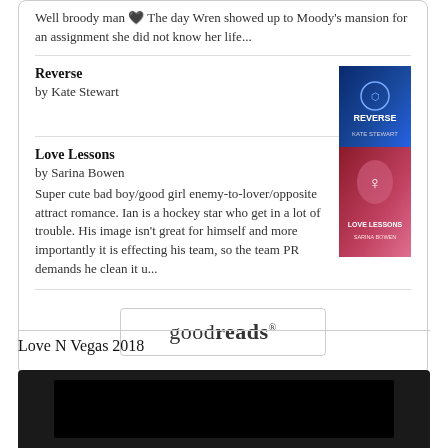Well broody man 🖤 The day Wren showed up to Moody's mansion for an assignment she did not know her life...
Reverse
by Kate Stewart
Love Lessons
by Sarina Bowen
Super cute bad boy/good girl enemy-to-lover/opposite attract romance. Ian is a hockey star who get in a lot of trouble. His image isn't great for himself and more importantly it is effecting his team, so the team PR demands he clean it u...
[Figure (logo): Goodreads button with logo text]
Love N Vegas 2018
[Figure (screenshot): Dark video player thumbnail, mostly black]